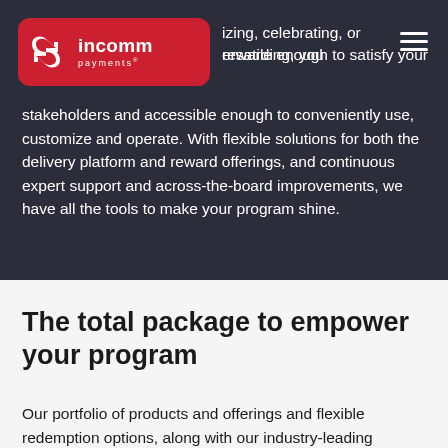InComm Payments logo
izing, celebrating, or rewarding, you versatile enough to satisfy your stakeholders and accessible enough to conveniently use, customize and operate. With flexible solutions for both the delivery platform and reward offerings, and continuous expert support and across-the-board improvements, we have all the tools to make your program shine.
The total package to empower your program
Our portfolio of products and offerings and flexible redemption options, along with our industry-leading